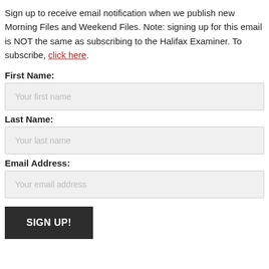Sign up to receive email notification when we publish new Morning Files and Weekend Files. Note: signing up for this email is NOT the same as subscribing to the Halifax Examiner. To subscribe, click here.
First Name:
Your first name
Last Name:
Your last name
Email Address:
Your email address
SIGN UP!